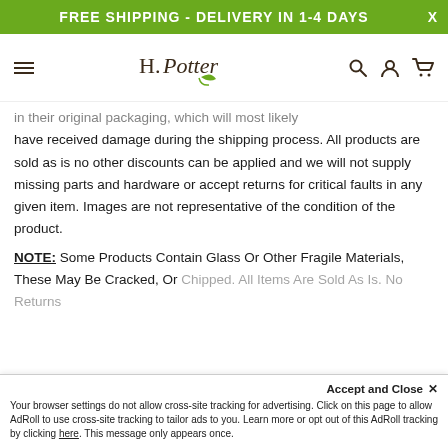FREE SHIPPING - DELIVERY IN 1-4 DAYS
[Figure (logo): H. Potter brand logo with stylized text and green leaf]
in their original packaging, which will most likely have received damage during the shipping process. All products are sold as is no other discounts can be applied and we will not supply missing parts and hardware or accept returns for critical faults in any given item. Images are not representative of the condition of the product.
NOTE: Some Products Contain Glass Or Other Fragile Materials, These May Be Cracked, Or Chipped. All Items Are Sold As Is. No Returns
Accept and Close ✕
Your browser settings do not allow cross-site tracking for advertising. Click on this page to allow AdRoll to use cross-site tracking to tailor ads to you. Learn more or opt out of this AdRoll tracking by clicking here. This message only appears once.